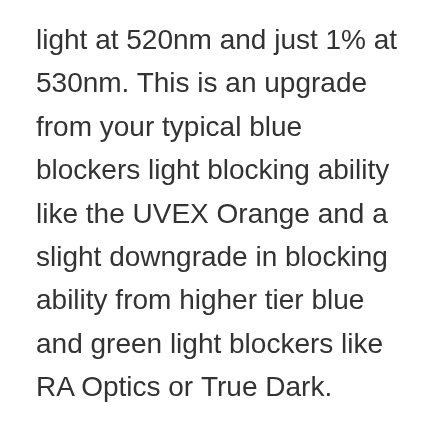light at 520nm and just 1% at 530nm. This is an upgrade from your typical blue blockers light blocking ability like the UVEX Orange and a slight downgrade in blocking ability from higher tier blue and green light blockers like RA Optics or True Dark.
The benefit is that you still get the vast majority of melatonin protection and these glasses are easier to see in at night so they make a great intro pair or are good for anyone who won't wear blue